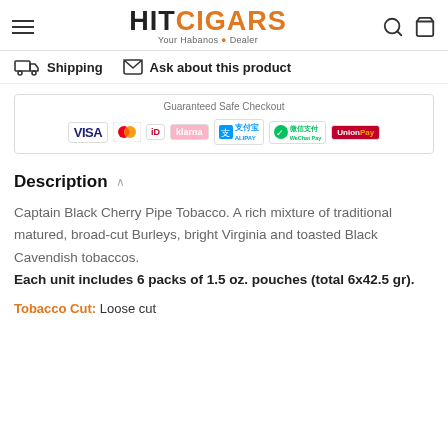HIT CIGARS — Your Habanos Dealer
Shipping   Ask about this product
[Figure (infographic): Guaranteed Safe Checkout section with payment method logos: VISA, Mastercard, iDEAL, Klarna, Alipay, WeChat Pay, UnionPay]
Description
Captain Black Cherry Pipe Tobacco. A rich mixture of traditional matured, broad-cut Burleys, bright Virginia and toasted Black Cavendish tobaccos. Each unit includes 6 packs of 1.5 oz. pouches (total 6x42.5 gr).
Tobacco Cut: Loose cut